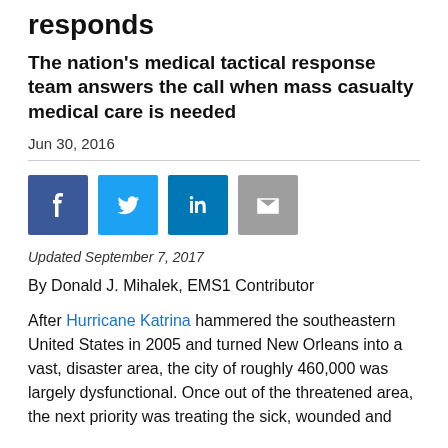responds
The nation's medical tactical response team answers the call when mass casualty medical care is needed
Jun 30, 2016
[Figure (other): Social media sharing icons: Facebook, Twitter, LinkedIn, Email]
Updated September 7, 2017
By Donald J. Mihalek, EMS1 Contributor
After Hurricane Katrina hammered the southeastern United States in 2005 and turned New Orleans into a vast, disaster area, the city of roughly 460,000 was largely dysfunctional. Once out of the threatened area, the next priority was treating the sick, wounded and